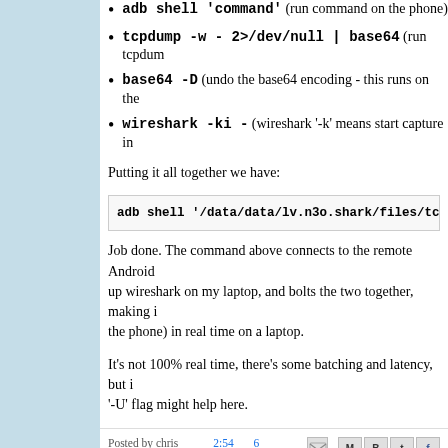adb shell 'command' (run command on the phone)
tcpdump -w - 2>/dev/null | base64 (run tcpdum...)
base64 -D (undo the base64 encoding - this runs on the...)
wireshark -ki - (wireshark '-k' means start capture in...)
Putting it all together we have:
adb shell '/data/data/lv.n3o.shark/files/tcpdump -...
Job done. The command above connects to the remote Android...up wireshark on my laptop, and bolts the two together, making it...the phone) in real time on a laptop.
It's not 100% real time, there's some batching and latency, but it...'-U' flag might help here.
Posted by chris marget at 2:54 PM   6 comments
Tuesday, June 3, 2014
Relaying email with postfix + TLS thro...